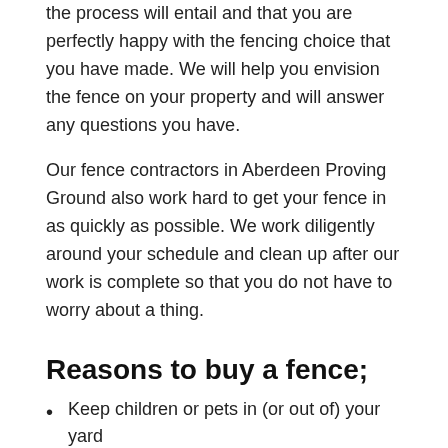the process will entail and that you are perfectly happy with the fencing choice that you have made. We will help you envision the fence on your property and will answer any questions you have.
Our fence contractors in Aberdeen Proving Ground also work hard to get your fence in as quickly as possible. We work diligently around your schedule and clean up after our work is complete so that you do not have to worry about a thing.
Reasons to buy a fence;
Keep children or pets in (or out of) your yard
Provide privacy by blocking sight lines into your yard
Keep your home secure
Enhance your privacy at scheduled events the